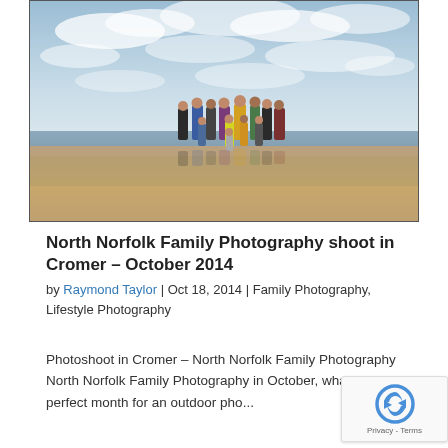[Figure (photo): A large family group standing on a flat sandy beach with wet sand reflecting them, under a partly cloudy blue sky. The group of about 12 people stands centered in the frame.]
North Norfolk Family Photography shoot in Cromer – October 2014
by Raymond Taylor | Oct 18, 2014 | Family Photography, Lifestyle Photography
Photoshoot in Cromer – North Norfolk Family Photography North Norfolk Family Photography in October, what a perfect month for an outdoor pho... shoot. But wait they don't ...